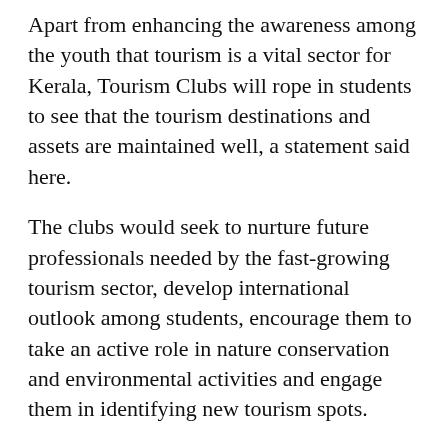Apart from enhancing the awareness among the youth that tourism is a vital sector for Kerala, Tourism Clubs will rope in students to see that the tourism destinations and assets are maintained well, a statement said here.
The clubs would seek to nurture future professionals needed by the fast-growing tourism sector, develop international outlook among students, encourage them to take an active role in nature conservation and environmental activities and engage them in identifying new tourism spots.
Also, the campus clubs would help students understand the tastes and demands of the tourists of our time. The members of the Tourism Clubs would get an opportunity to participate in major tourism-related events in the state like Kerala Travel Mart